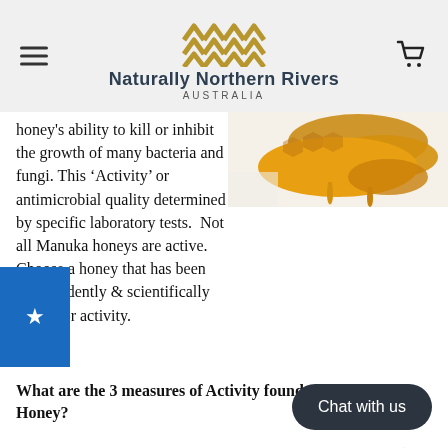Naturally Northern Rivers AUSTRALIA
[Figure (photo): Honeycomb with golden honey dripping on white background]
honey's ability to kill or inhibit the growth of many bacteria and fungi. This 'Activity' or antimicrobial quality determined by specific laboratory tests.  Not all Manuka honeys are active. Choose a honey that has been independently & scientifically tested for activity.
What are the 3 measures of Activity found only in Manuka Honey?
Leptosperin – naturally occurring only in manuka nectar (& a few very close relatives)
DHA –